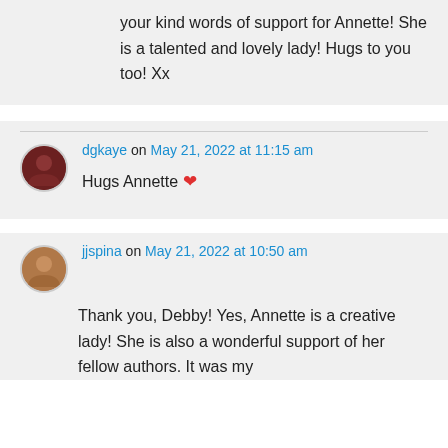your kind words of support for Annette! She is a talented and lovely lady! Hugs to you too! Xx
dgkaye on May 21, 2022 at 11:15 am
Hugs Annette ❤
jjspina on May 21, 2022 at 10:50 am
Thank you, Debby! Yes, Annette is a creative lady! She is also a wonderful support of her fellow authors. It was my